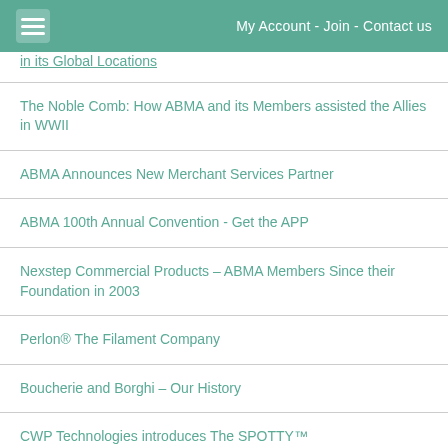My Account - Join - Contact us
in its Global Locations
The Noble Comb: How ABMA and its Members assisted the Allies in WWII
ABMA Announces New Merchant Services Partner
ABMA 100th Annual Convention - Get the APP
Nexstep Commercial Products – ABMA Members Since their Foundation in 2003
Perlon® The Filament Company
Boucherie and Borghi – Our History
CWP Technologies introduces The SPOTTY™